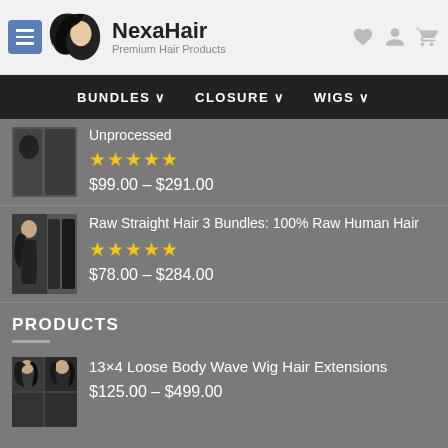NexaHair – Premium Hair Products
BUNDLES | CLOSURE | WIGS
Unprocessed
★★★★★
$99.00 – $291.00
Raw Straight Hair 3 Bundles: 100% Raw Human Hair
★★★★★
$78.00 – $284.00
PRODUCTS
13×4 Loose Body Wave Wig Hair Extensions
$125.00 – $499.00